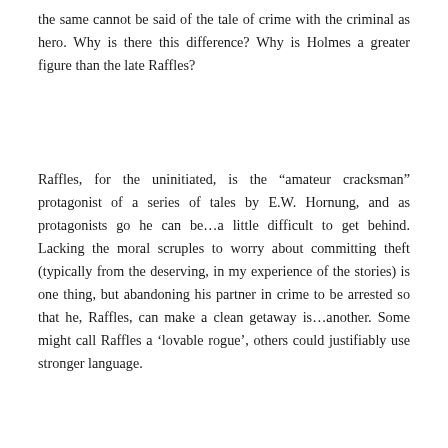the same cannot be said of the tale of crime with the criminal as hero. Why is there this difference? Why is Holmes a greater figure than the late Raffles?
Raffles, for the uninitiated, is the “amateur cracksman” protagonist of a series of tales by E.W. Hornung, and as protagonists go he can be…a little difficult to get behind. Lacking the moral scruples to worry about committing theft (typically from the deserving, in my experience of the stories) is one thing, but abandoning his partner in crime to be arrested so that he, Raffles, can make a clean getaway is…another. Some might call Raffles a ‘lovable rogue’, others could justifiably use stronger language.